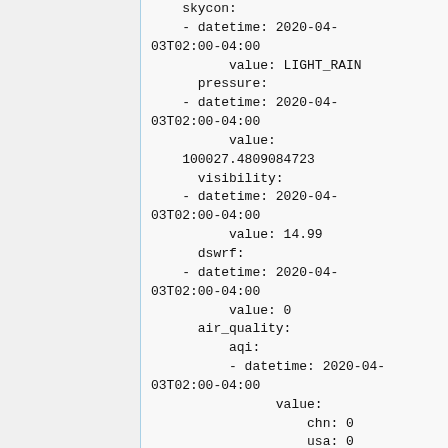skycon:
    - datetime: 2020-04-03T02:00-04:00
          value: LIGHT_RAIN
      pressure:
    - datetime: 2020-04-03T02:00-04:00
          value:
    100027.4809084723
      visibility:
    - datetime: 2020-04-03T02:00-04:00
          value: 14.99
      dswrf:
    - datetime: 2020-04-03T02:00-04:00
          value: 0
      air_quality:
          aqi:
          - datetime: 2020-04-03T02:00-04:00
                value:
                    chn: 0
                    usa: 0